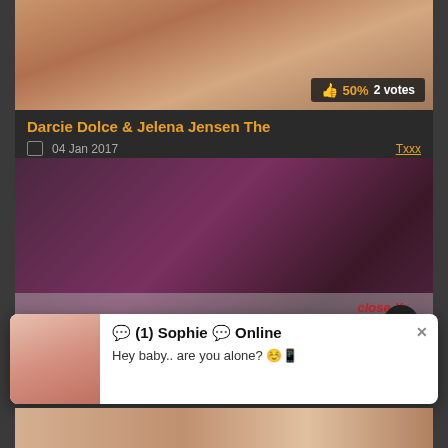[Figure (photo): Thumbnail image of a woman, top of card]
50% 2 votes
Darcie Dolce & Jelena Jensen The
04 Jan 2017
Txxx
[Figure (photo): Video thumbnail showing two women in a bedroom scene with pink wall]
close X
[Figure (photo): Popup notification with avatar of a young woman]
💬 (1) Sophie 💬 Online
Hey baby.. are you alone? ☺️📱
[Figure (photo): Bottom strip thumbnail image]